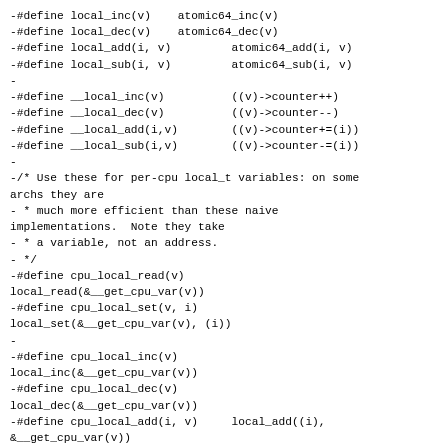-#define local_inc(v)    atomic64_inc(v)
-#define local_dec(v)    atomic64_dec(v)
-#define local_add(i, v)         atomic64_add(i, v)
-#define local_sub(i, v)         atomic64_sub(i, v)
-
-#define __local_inc(v)          ((v)->counter++)
-#define __local_dec(v)          ((v)->counter--)
-#define __local_add(i,v)        ((v)->counter+=(i))
-#define __local_sub(i,v)        ((v)->counter-=(i))
-
-/* Use these for per-cpu local_t variables: on some archs they are
- * much more efficient than these naive implementations.  Note they take
- * a variable, not an address.
- */
-#define cpu_local_read(v)
local_read(&__get_cpu_var(v))
-#define cpu_local_set(v, i)
local_set(&__get_cpu_var(v), (i))
-
-#define cpu_local_inc(v)
local_inc(&__get_cpu_var(v))
-#define cpu_local_dec(v)
local_dec(&__get_cpu_var(v))
-#define cpu_local_add(i, v)     local_add((i),
&__get_cpu_var(v))
-#define cpu_local_sub(i, v)     local_sub((i),
&__get_cpu_var(v))
-